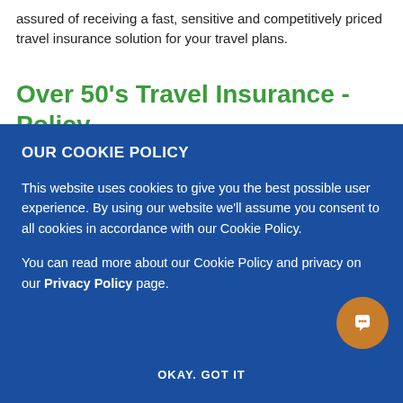assured of receiving a fast, sensitive and competitively priced travel insurance solution for your travel plans.
Over 50's Travel Insurance - Policy Features
[Figure (screenshot): Cookie policy overlay banner on a blue background with title 'OUR COOKIE POLICY', body text about cookies, a bold 'Privacy Policy' link, an 'OKAY. GOT IT' button, and a circular orange chat bubble icon.]